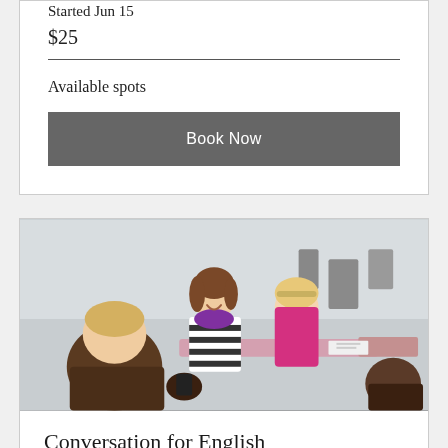Started Jun 15
$25
Available spots
Book Now
[Figure (photo): Students sitting around a table in a classroom, laughing and conversing. One student in a striped shirt and purple scarf, another in a pink top, and others visible from behind.]
Conversation for English
Daily conversations for speaking,